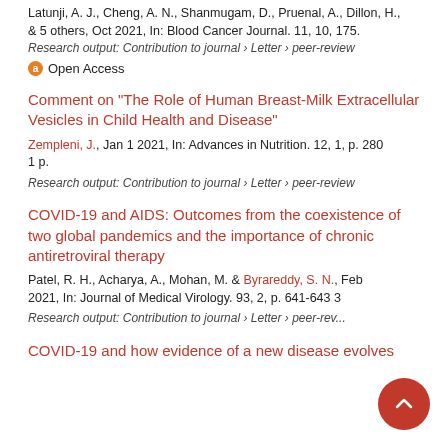Latunji, A. J., Cheng, A. N., Shanmugam, D., Pruenal, A., Dillon, H., & 5 others, Oct 2021, In: Blood Cancer Journal. 11, 10, 175.
Research output: Contribution to journal › Letter › peer-review
Open Access
Comment on "The Role of Human Breast-Milk Extracellular Vesicles in Child Health and Disease"
Zempleni, J., Jan 1 2021, In: Advances in Nutrition. 12, 1, p. 280 1 p.
Research output: Contribution to journal › Letter › peer-review
COVID-19 and AIDS: Outcomes from the coexistence of two global pandemics and the importance of chronic antiretroviral therapy
Patel, R. H., Acharya, A., Mohan, M. & Byrareddy, S. N., Feb 2021, In: Journal of Medical Virology. 93, 2, p. 641-643 3
Research output: Contribution to journal › Letter › peer-rev...
COVID-19 and how evidence of a new disease evolves